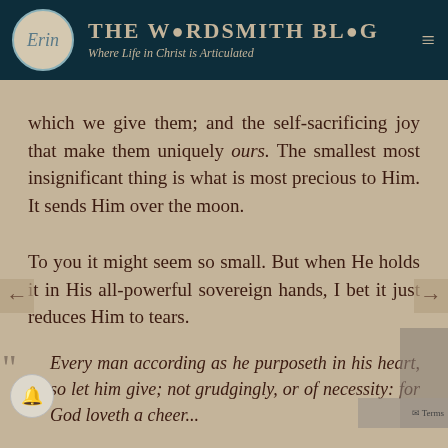The Wordsmith Blog — Where Life in Christ is Articulated
which we give them; and the self-sacrificing joy that make them uniquely ours. The smallest most insignificant thing is what is most precious to Him. It sends Him over the moon.
To you it might seem so small. But when He holds it in His all-powerful sovereign hands, I bet it just reduces Him to tears.
Every man according as he purposeth in his heart, so let him give; not grudgingly, or of necessity: for God loveth a cheer...